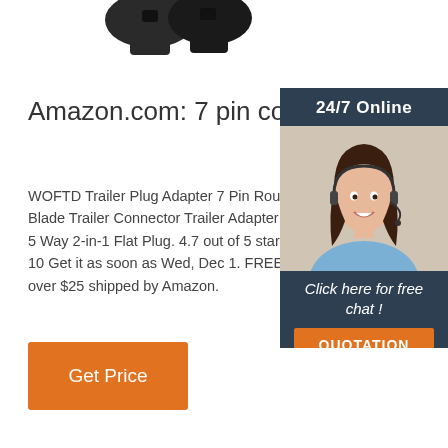[Figure (photo): Partial view of a black connector/plug product at the top of the page]
Amazon.com: 7 pin connector
WOFTD Trailer Plug Adapter 7 Pin Round and 5 Flat Blade Trailer Connector Trailer Adapter 7 Way to 4 Way 5 Way 2-in-1 Flat Plug. 4.7 out of 5 stars 1,221. $10.98 $ 10 Get it as soon as Wed, Dec 1. FREE Ship orders over $25 shipped by Amazon.
[Figure (infographic): Dark blue banner/widget showing '24/7 Online' header, a woman with headset, 'Click here for free chat!' text, and an orange QUOTATION button]
[Figure (other): Orange 'Get Price' button]